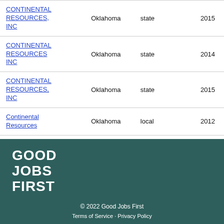| Company | State | Level | Year |
| --- | --- | --- | --- |
| CONTINENTAL RESOURCES, INC | Oklahoma | state | 2015 |
| CONTINENTAL RESOURCES INC | Oklahoma | state | 2014 |
| CONTINENTAL RESOURCES, INC | Oklahoma | state | 2015 |
| Continental Resources | Oklahoma | local | 2012 |
[Figure (logo): Good Jobs First logo — white bold text on dark teal background reading GOOD JOBS FIRST]
© 2022 Good Jobs First
Terms of Service · Privacy Policy